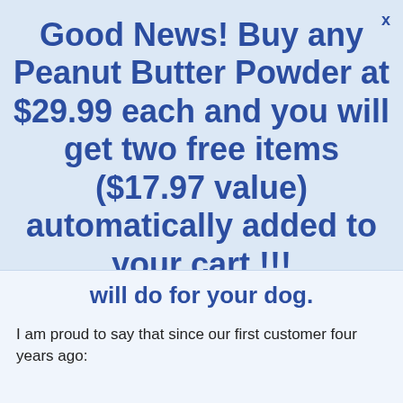Good News! Buy any Peanut Butter Powder at $29.99 each and you will get two free items ($17.97 value) automatically added to your cart !!!
will do for your dog.
I am proud to say that since our first customer four years ago: